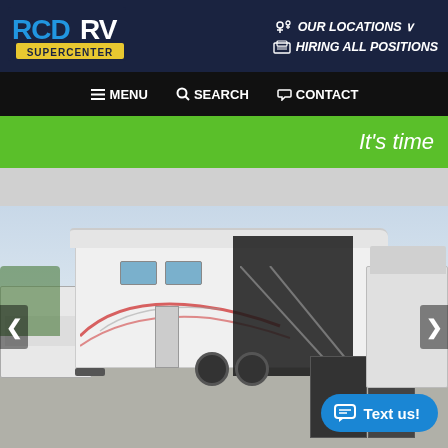[Figure (logo): RCD RV SUPERCENTER logo — blue and white text on dark navy background]
OUR LOCATIONS
HIRING ALL POSITIONS
MENU
SEARCH
CONTACT
It's time
[Figure (photo): Photo of a white toy hauler / fifth wheel RV with the rear ramp door open revealing a garage area, parked in an outdoor RV lot with other RVs visible in the background. Left and right navigation arrows visible on sides.]
Text us!